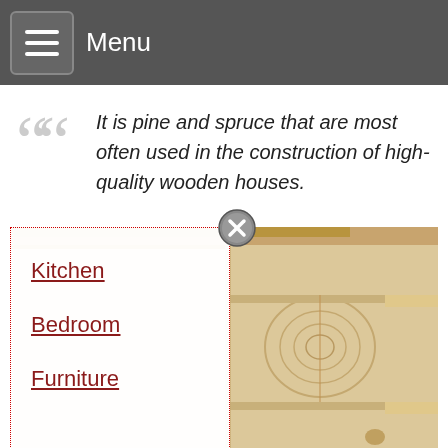Menu
It is pine and spruce that are most often used in the construction of high-quality wooden houses.
Kitchen
Bedroom
Furniture
[Figure (photo): Close-up photograph of wooden log construction showing interlocking wood joints with visible grain and knots]